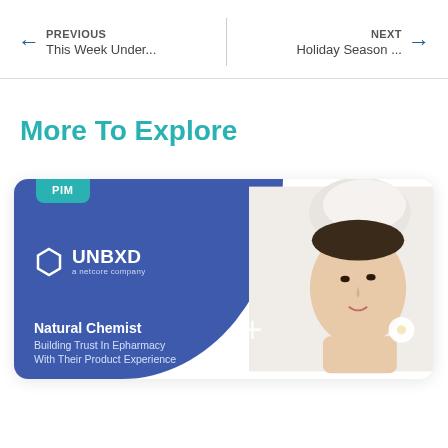PREVIOUS | This Week Under... | NEXT | Holiday Season ...
More To Explore
[Figure (screenshot): Product card for Unbxd (a netcore company) PIM case study featuring Natural Chemist — Building Trust In Epharmacy With Their Product Experience. Blue card with logo and woman with towel on head.]